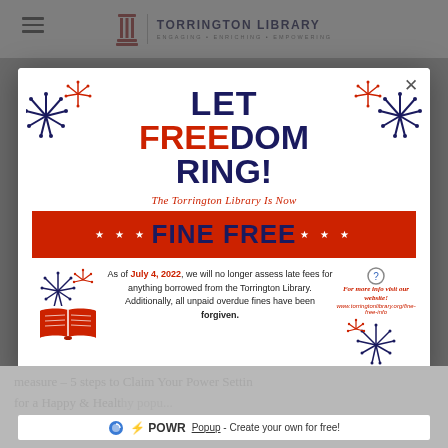TORRINGTON LIBRARY — ENGAGING • ENRICHING • EMPOWERING
[Figure (illustration): Popup modal advertisement for Torrington Library Fine Free announcement with fireworks decorations, LET FREEDOM RING headline, FINE FREE red banner with stars, and body text about July 4 2022 fine-free policy]
As of July 4, 2022, we will no longer assess late fees for anything borrowed from the Torrington Library. Additionally, all unpaid overdue fines have been forgiven.
For more info visit our website! www.torringtonlibrary.org/fine-free-info
POWR Popup - Create your own for free!